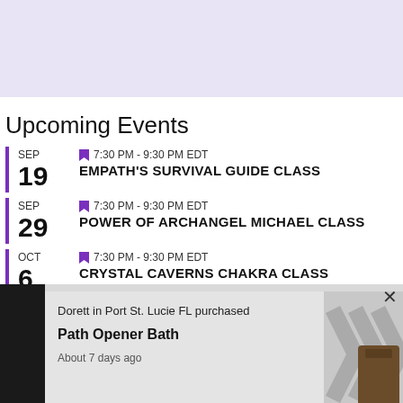[Figure (other): Light purple/lavender header banner background]
Upcoming Events
SEP 19 — 7:30 PM - 9:30 PM EDT — EMPATH'S SURVIVAL GUIDE CLASS
SEP 29 — 7:30 PM - 9:30 PM EDT — POWER OF ARCHANGEL MICHAEL CLASS
OCT 6 — 7:30 PM - 9:30 PM EDT — CRYSTAL CAVERNS CHAKRA CLASS
View Calendar
Dorett in Port St. Lucie FL purchased
Path Opener Bath
About 7 days ago